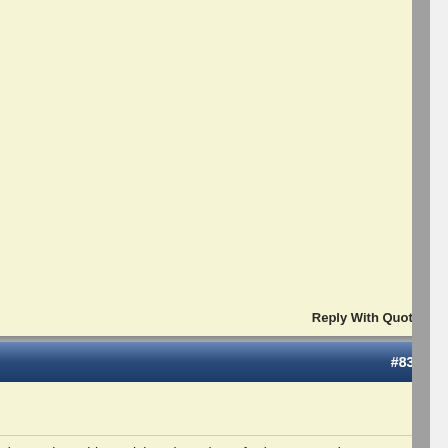Reply With Quote
#833
al assault , or blatant lying about those ferries. An utterly corrupt outfit.